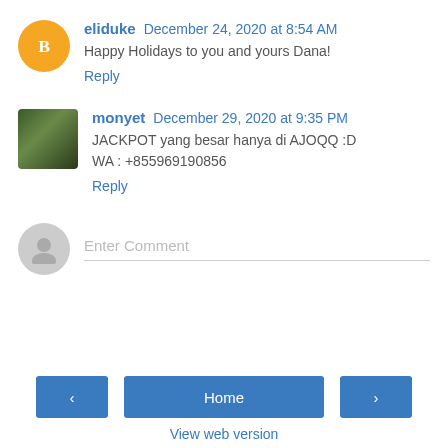eliduke  December 24, 2020 at 8:54 AM
Happy Holidays to you and yours Dana!
Reply
monyet  December 29, 2020 at 9:35 PM
JACKPOT yang besar hanya di AJOQQ :D
WA : +855969190856
Reply
Enter Comment
Home
View web version